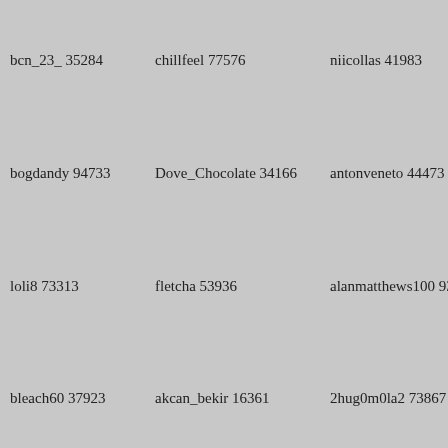bcn_23_ 35284
chillfeel 77576
niicollas 41983
bogdandy 94733
Dove_Chocolate 34166
antonveneto 44473
loli8 73313
fletcha 53936
alanmatthews100 93
bleach60 37923
akcan_bekir 16361
2hug0m0la2 73867